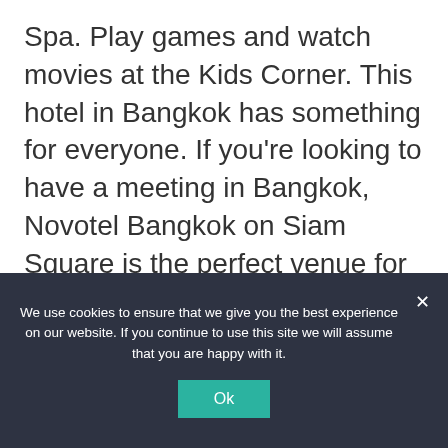Spa. Play games and watch movies at the Kids Corner. This hotel in Bangkok has something for everyone. If you're looking to have a meeting in Bangkok, Novotel Bangkok on Siam Square is the perfect venue for meetings and banquets.
We use cookies to ensure that we give you the best experience on our website. If you continue to use this site we will assume that you are happy with it.
Ok